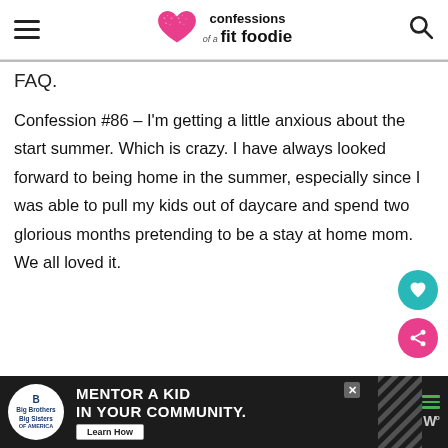confessions of a fit foodie
FAQ.
Confession #86 – I'm getting a little anxious about the start summer.  Which is crazy.  I have always looked forward to being home in the summer, especially since I was able to pull my kids out of daycare and spend two glorious months pretending to be a stay at home mom.  We all loved it.
[Figure (infographic): Ad banner: Big Brothers Big Sisters logo, 'Mentor a Kid in Your Community' with Learn How button, dark background with diagonal stripes pattern and menu icons]